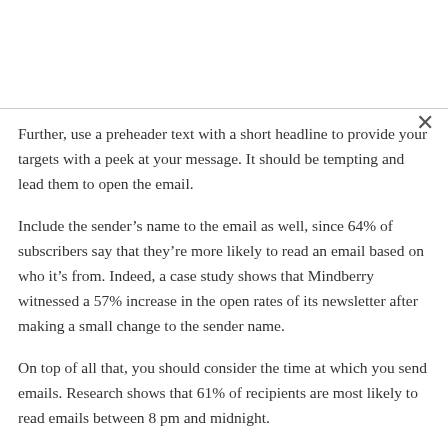Further, use a preheader text with a short headline to provide your targets with a peek at your message. It should be tempting and lead them to open the email.
Include the sender's name to the email as well, since 64% of subscribers say that they're more likely to read an email based on who it's from. Indeed, a case study shows that Mindberry witnessed a 57% increase in the open rates of its newsletter after making a small change to the sender name.
On top of all that, you should consider the time at which you send emails. Research shows that 61% of recipients are most likely to read emails between 8 pm and midnight.